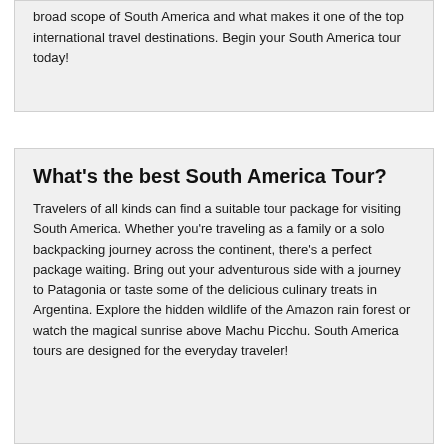broad scope of South America and what makes it one of the top international travel destinations. Begin your South America tour today!
What's the best South America Tour?
Travelers of all kinds can find a suitable tour package for visiting South America. Whether you're traveling as a family or a solo backpacking journey across the continent, there's a perfect package waiting. Bring out your adventurous side with a journey to Patagonia or taste some of the delicious culinary treats in Argentina. Explore the hidden wildlife of the Amazon rain forest or watch the magical sunrise above Machu Picchu. South America tours are designed for the everyday traveler!